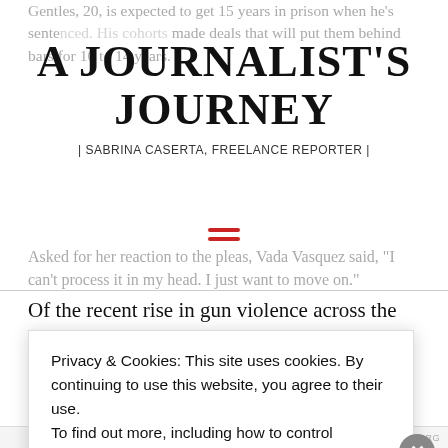Gentles, 20, is expected to get 15 years in prison when he's sentenced. His cohorts made deals that will put them behind bars for 10 to 14 years.
A JOURNALIST'S JOURNEY
| SABRINA CASERTA, FREELANCE REPORTER |
Asked for her reaction to the pleas, Vada Vasquez said, “I can’t process it in my head. I just want to move on.”
Of the recent rise in gun violence across the city, she said, “I just think it’s unfortunate. I hope it gets fixed
Privacy & Cookies: This site uses cookies. By continuing to use this website, you agree to their use.
To find out more, including how to control cookies, see here: Cookie Policy
CLOSE AND ACCEPT